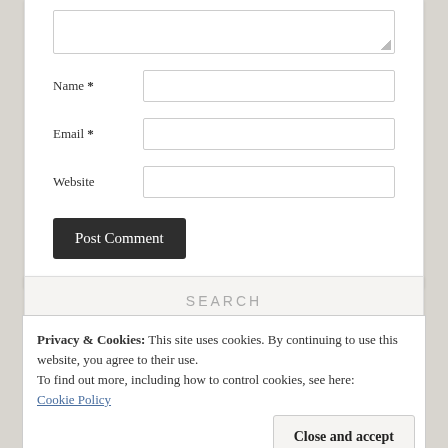[Figure (screenshot): Web comment form with Name, Email, Website fields and Post Comment button]
SEARCH
Privacy & Cookies: This site uses cookies. By continuing to use this website, you agree to their use.
To find out more, including how to control cookies, see here:
Cookie Policy
Close and accept
Search the Office...